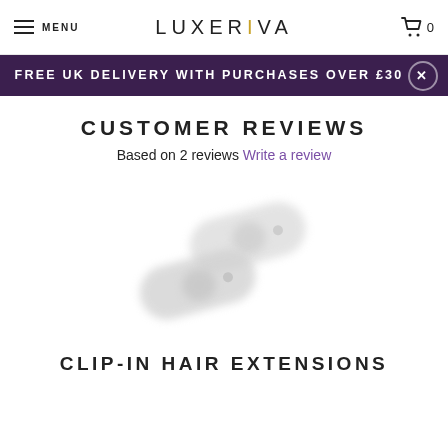MENU   LUXERIVA   0
FREE UK DELIVERY WITH PURCHASES OVER £30
CUSTOMER REVIEWS
Based on 2 reviews Write a review
[Figure (photo): Two blurred/transparent hair extension clips shown diagonally]
CLIP-IN HAIR EXTENSIONS